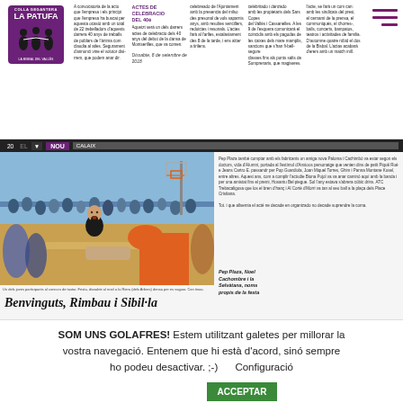[Figure (logo): La Patufa newspaper logo with purple background and silhouette figures]
Article columns with Catalan-language newspaper text about celebrations and events
ACTES DE CELEBRACIO DEL 40è
Dissabte, 8 de setembre de 2018
[Figure (photo): Children and people at an outdoor event, person in orange shirt visible, crowd in background with basketball hoop]
Un dels joves participants al concurs de tastar. Festa, dissabte al matí a la Riera (dels Arbres) densa per es vaguar. Con tinua.
Benvinguts, Rimbau i Sibil·la
Pep Plaza també comptar amb els fabricants un amiga nova Paloma i Cachimbó va estar segon els doctors, vida d'Alumni, portada al l'estímul d'Anxious personatge que venien dins de petit Piquê Rué e Jeans Cartro E. passandr per Pop Guardiola, Joan Miquel Torres, Ghim i Panna Montane Kusel, entre altres. Aquest ans, com a complir l'actudie Biona Pujol va va anar caminó aquí amb la banda i per una amistat fins el premi, Hosantu Bel·piegue. Sol l'any estava s'abrera cúbic drins. ATC Trebacaligosa que los el bren d'hanç i Al Cortè d'Morri va tan al seu ball a la plaça dels Place Cristiana.
Pep Plaza, Noel Cachombre i la Selvàtana, noms propis de la festa
SOM UNS GOLAFRES! Estem utilitzant galetes per millorar la vostra navegació. Entenem que hi està d'acord, sinó sempre ho podeu desactivar. ;-)      Configuració
ACCEPTAR
REBUTJAR